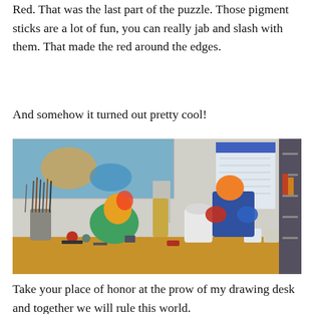Red. That was the last part of the puzzle. Those pigment sticks are a lot of fun, you can really jab and slash with them. That made the red around the edges.
And somehow it turned out pretty cool!
[Figure (photo): Artist's cluttered drawing desk with paintbrushes, art supplies, colorful sculptures, and a poster/artwork in the background showing a woman figure.]
Take your place of honor at the prow of my drawing desk and together we will rule this world.
Here's what I learned: I was not really a fan of this painting